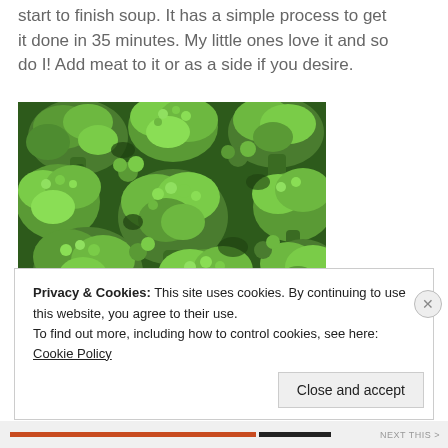start to finish soup. It has a simple process to get it done in 35 minutes. My little ones love it and so do I! Add meat to it or as a side if you desire.
[Figure (photo): Close-up photograph of fresh broccoli florets, showing green textured tops and stalks filling the frame.]
Privacy & Cookies: This site uses cookies. By continuing to use this website, you agree to their use.
To find out more, including how to control cookies, see here: Cookie Policy